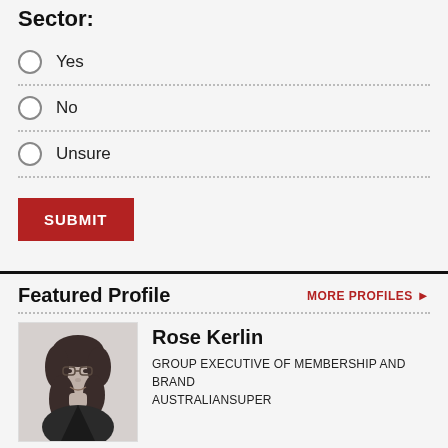Sector:
Yes
No
Unsure
SUBMIT
Featured Profile
MORE PROFILES ▶
[Figure (photo): Black and white portrait photo of Rose Kerlin, a woman with dark shoulder-length hair, glasses, wearing a dark jacket, smiling.]
Rose Kerlin
GROUP EXECUTIVE OF MEMBERSHIP AND BRAND
AUSTRALIANSUPER
Driven by a relentless commitment to helping others, it's of little wonder Rose Kerlin has excelled at leading profit to